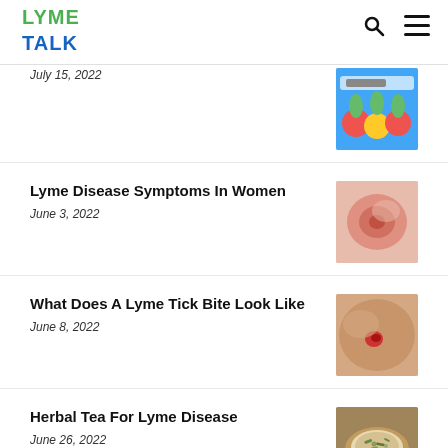LYME TALK
July 15, 2022
Lyme Disease Symptoms In Women
June 3, 2022
What Does A Lyme Tick Bite Look Like
June 8, 2022
Herbal Tea For Lyme Disease
June 26, 2022